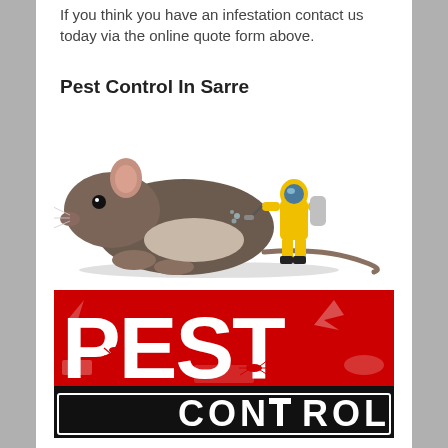If you think you have an infestation contact us today via the online quote form above.
Pest Control In Sarre
[Figure (illustration): A large rat with a small pest control worker in a yellow hazmat suit spraying next to it]
[Figure (logo): Pest Control logo with large red letters PEST on top and black banner with white letters CONTROL on bottom]